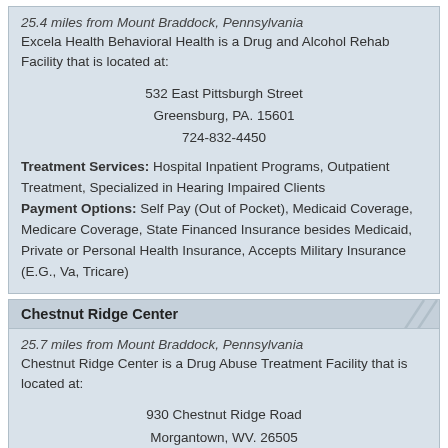25.4 miles from Mount Braddock, Pennsylvania
Excela Health Behavioral Health is a Drug and Alcohol Rehab Facility that is located at:
532 East Pittsburgh Street
Greensburg, PA. 15601
724-832-4450
Treatment Services: Hospital Inpatient Programs, Outpatient Treatment, Specialized in Hearing Impaired Clients
Payment Options: Self Pay (Out of Pocket), Medicaid Coverage, Medicare Coverage, State Financed Insurance besides Medicaid, Private or Personal Health Insurance, Accepts Military Insurance (E.G., Va, Tricare)
Chestnut Ridge Center
25.7 miles from Mount Braddock, Pennsylvania
Chestnut Ridge Center is a Drug Abuse Treatment Facility that is located at:
930 Chestnut Ridge Road
Morgantown, WV. 26505
304-598-6400
Treatment Services: Hospital Inpatient Programs, Outpatient Treatment, Specialized in Hearing Impaired Clients, Spanish Services, Other Language Programs
Payment Options: Self Pay (Out of Pocket), Medicaid Co...